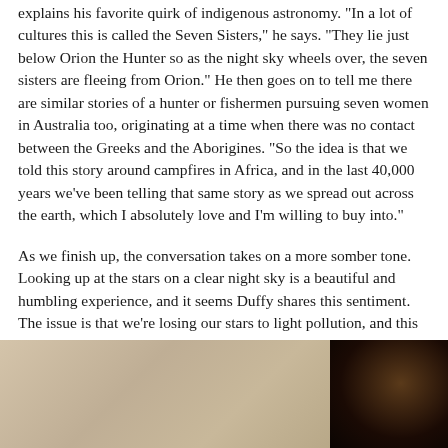explains his favorite quirk of indigenous astronomy. "In a lot of cultures this is called the Seven Sisters," he says. "They lie just below Orion the Hunter so as the night sky wheels over, the seven sisters are fleeing from Orion." He then goes on to tell me there are similar stories of a hunter or fishermen pursuing seven women in Australia too, originating at a time when there was no contact between the Greeks and the Aborigines. "So the idea is that we told this story around campfires in Africa, and in the last 40,000 years we've been telling that same story as we spread out across the earth, which I absolutely love and I'm willing to buy into."
As we finish up, the conversation takes on a more somber tone. Looking up at the stars on a clear night sky is a beautiful and humbling experience, and it seems Duffy shares this sentiment. The issue is that we're losing our stars to light pollution, and this means we're also losing some of mankind's oldest stories. Duffy ruminates on this for a moment. "I think if everyone turned the lights off so they could see what they're missing, I don't think we'd turn the lights back on. And if we did, maybe we wouldn't turn on as many."
[Figure (photo): A wide photograph showing two scenes side by side: on the left, a large light beige/tan wall or surface with muted tones; on the right, a dark interior scene with very low lighting showing shadowy figures or objects.]